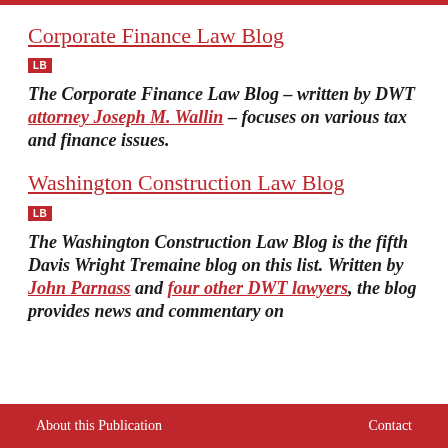Corporate Finance Law Blog
LB
The Corporate Finance Law Blog – written by DWT attorney Joseph M. Wallin – focuses on various tax and finance issues.
Washington Construction Law Blog
LB
The Washington Construction Law Blog is the fifth Davis Wright Tremaine blog on this list. Written by John Parnass and four other DWT lawyers, the blog provides news and commentary on
About this Publication    Contact